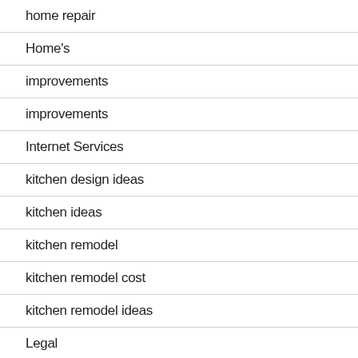home repair
Home's
improvements
improvements
Internet Services
kitchen design ideas
kitchen ideas
kitchen remodel
kitchen remodel cost
kitchen remodel ideas
Legal